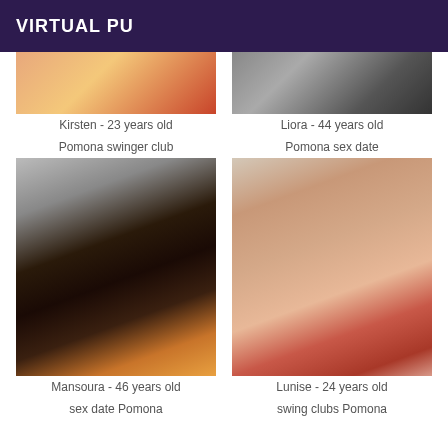VIRTUAL PU
[Figure (photo): Partial photo of Kirsten]
[Figure (photo): Partial photo of Liora]
Kirsten - 23 years old
Liora - 44 years old
Pomona swinger club
Pomona sex date
[Figure (photo): Photo of Mansoura]
[Figure (photo): Photo of Lunise]
Mansoura - 46 years old
Lunise - 24 years old
sex date Pomona
swing clubs Pomona